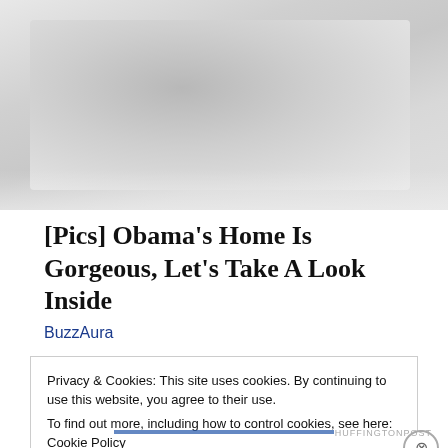[Figure (photo): A faded/watermarked hero image at the top of the page, light gray tones suggesting an interior or architectural photo]
[Pics] Obama's Home Is Gorgeous, Let's Take A Look Inside
BuzzAura
Privacy & Cookies: This site uses cookies. By continuing to use this website, you agree to their use.
To find out more, including how to control cookies, see here: Cookie Policy
Close and accept